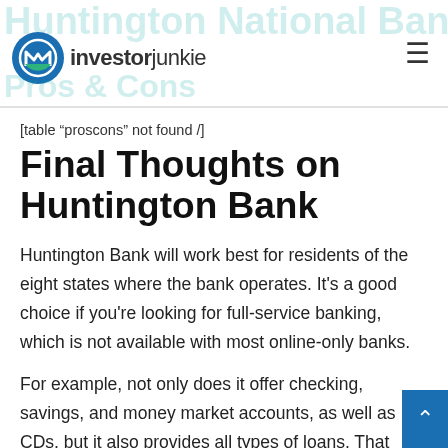investorjunkie
[table “proscons” not found /]
Final Thoughts on Huntington Bank
Huntington Bank will work best for residents of the eight states where the bank operates. It’s a good choice if you’re looking for full-service banking, which is not available with most online-only banks.
For example, not only does it offer checking, savings, and money market accounts, as well as CDs, but it also provides all types of loans. That